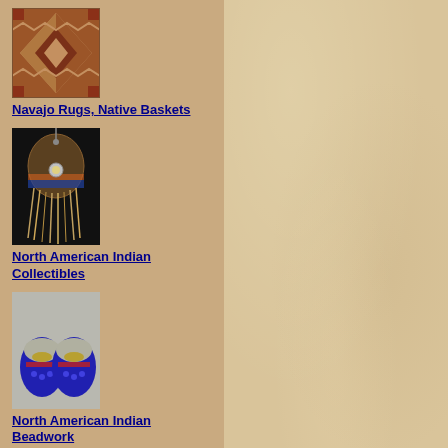[Figure (photo): Thumbnail image of a Navajo rug with geometric zigzag pattern in red, orange, and tan colors]
Navajo Rugs, Native Baskets
[Figure (photo): Thumbnail image of a Native American headdress or dance regalia hanging, with feathers and fringe against a dark background]
North American Indian Collectibles
[Figure (photo): Thumbnail image of Native American moccasins with blue, red, and gold beadwork on metallic background]
North American Indian Beadwork
[Figure (photo): Partial thumbnail image of another Native American item at the bottom of the page, in orange/brown tones]